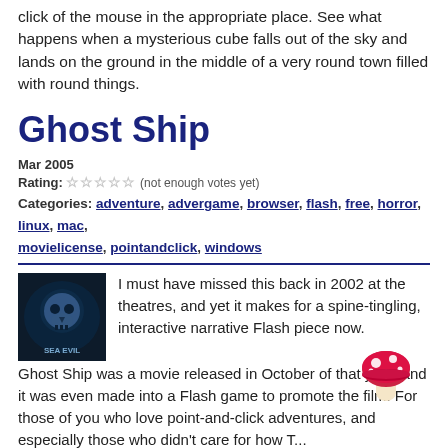click of the mouse in the appropriate place. See what happens when a mysterious cube falls out of the sky and lands on the ground in the middle of a very round town filled with round things.
Ghost Ship
Mar 2005
Rating: ☆☆☆☆☆ (not enough votes yet)
Categories: adventure, advergame, browser, flash, free, horror, linux, mac, movielicense, pointandclick, windows
[Figure (photo): Dark movie poster thumbnail for Ghost Ship/Sea Evil with skull imagery]
I must have missed this back in 2002 at the theatres, and yet it makes for a spine-tingling, interactive narrative Flash piece now. Ghost Ship was a movie released in October of that year, and it was even made into a Flash game to promote the film. For those of you who love point-and-click adventures, and especially those who didn't care for how T...
The Everglow